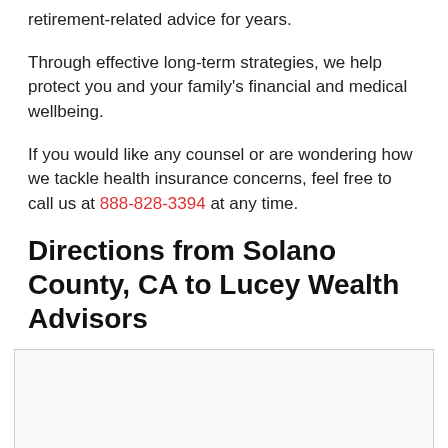retirement-related advice for years.
Through effective long-term strategies, we help protect you and your family's financial and medical wellbeing.
If you would like any counsel or are wondering how we tackle health insurance concerns, feel free to call us at 888-828-3394 at any time.
Directions from Solano County, CA to Lucey Wealth Advisors
[Figure (map): Map showing directions from Solano County, CA to Lucey Wealth Advisors]